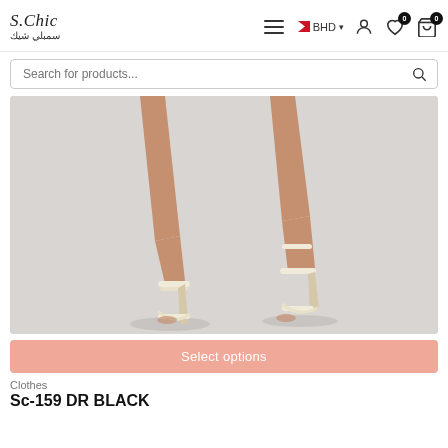S.Chic / سمبلي شيك — BHD — navigation header with search bar
[Figure (photo): Close-up photo of a woman's legs wearing beige/cream strappy high-heel sandals against a light grey background]
Select options
Clothes
Sc-159 DR BLACK